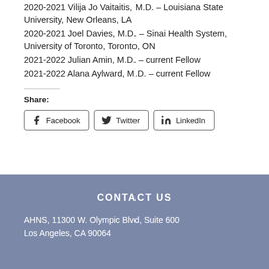2020-2021 Vilija Jo Vaitaitis, M.D. – Louisiana State University, New Orleans, LA
2020-2021 Joel Davies, M.D. – Sinai Health System, University of Toronto, Toronto, ON
2021-2022 Julian Amin, M.D. – current Fellow
2021-2022 Alana Aylward, M.D. – current Fellow
Share:
Facebook  Twitter  LinkedIn
CONTACT US
AHNS, 11300 W. Olympic Blvd, Suite 600
Los Angeles, CA 90064